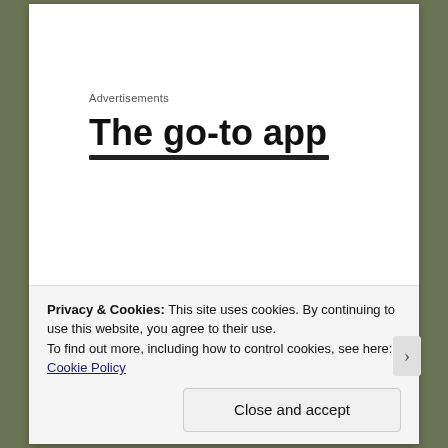Advertisements
[Figure (screenshot): Advertisement banner showing bold text 'The go-to app' with a partially visible underline/subtitle below]
Thanks, Jocelyn, for stopping by! Let her know what you think of
Privacy & Cookies: This site uses cookies. By continuing to use this website, you agree to their use.
To find out more, including how to control cookies, see here: Cookie Policy
Close and accept